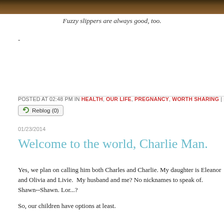[Figure (photo): Partial photo strip at top of page, showing a dark brown/wood-toned image cropped at the bottom]
Fuzzy slippers are always good, too.
-
POSTED AT 02:48 PM IN HEALTH, OUR LIFE, PREGNANCY, WORTH SHARING | PERMALINK
Reblog (0)
01/23/2014
Welcome to the world, Charlie Man.
Yes, we plan on calling him both Charles and Charlie. My daughter is Eleanor and Olivia and Livie.  My husband and me? No nicknames to speak of. Shawn--Shawn. Lor...?
So, our children have options at least.